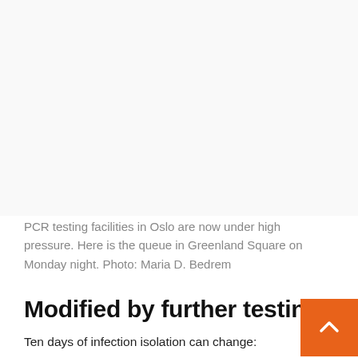[Figure (photo): Photo occupying the upper portion of the page — PCR testing queue in Greenland Square, Oslo (image area appears white/blank in this view)]
PCR testing facilities in Oslo are now under high pressure. Here is the queue in Greenland Square on Monday night. Photo: Maria D. Bedrem
Modified by further testing
Ten days of infection isolation can change: